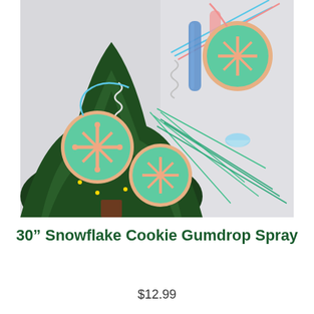[Figure (photo): A Christmas tree decorated with colorful snowflake cookie gumdrop sprays featuring round cookie-like ornaments with snowflake designs in mint green and peach/salmon colors, along with curly white springs, teal grass sprays, and small blue gumdrop shapes. The tree has warm golden lights visible.]
30” Snowflake Cookie Gumdrop Spray
$12.99